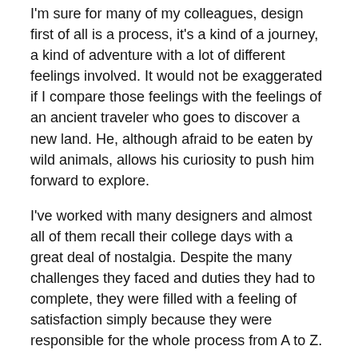I'm sure for many of my colleagues, design first of all is a process, it's a kind of a journey, a kind of adventure with a lot of different feelings involved. It would not be exaggerated if I compare those feelings with the feelings of an ancient traveler who goes to discover a new land. He, although afraid to be eaten by wild animals, allows his curiosity to push him forward to explore.
I've worked with many designers and almost all of them recall their college days with a great deal of nostalgia. Despite the many challenges they faced and duties they had to complete, they were filled with a feeling of satisfaction simply because they were responsible for the whole process from A to Z.
The new land of 3D